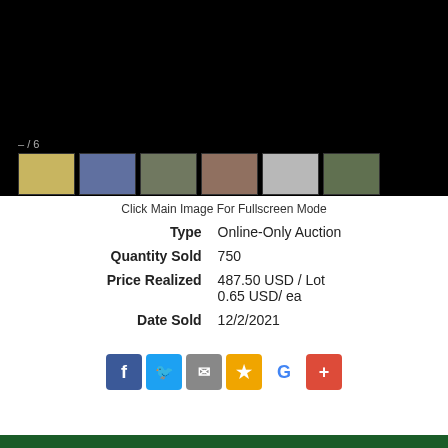[Figure (photo): Auction item gallery with black main image area showing 6 product thumbnail images at the bottom, and a counter showing '– / 6']
Click Main Image For Fullscreen Mode
| Type | Online-Only Auction |
| Quantity Sold | 750 |
| Price Realized | 487.50 USD / Lot
0.65 USD/ ea |
| Date Sold | 12/2/2021 |
[Figure (infographic): Social media sharing icons: Facebook (blue), Twitter (light blue), Email (grey), Star/Bookmark (gold), Google (white with G), Plus/Add (red)]